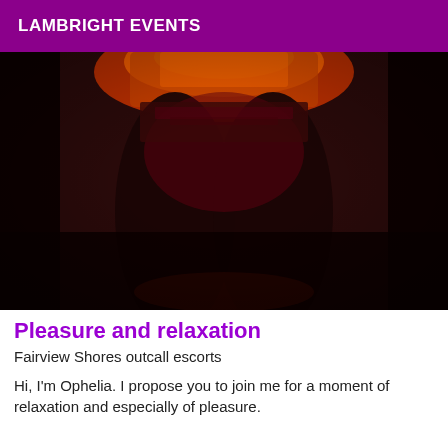LAMBRIGHT EVENTS
[Figure (photo): Dark reddish-toned photograph of a person in lingerie, low-light intimate setting with orange/red lighting]
Pleasure and relaxation
Fairview Shores outcall escorts
Hi, I'm Ophelia. I propose you to join me for a moment of relaxation and especially of pleasure.